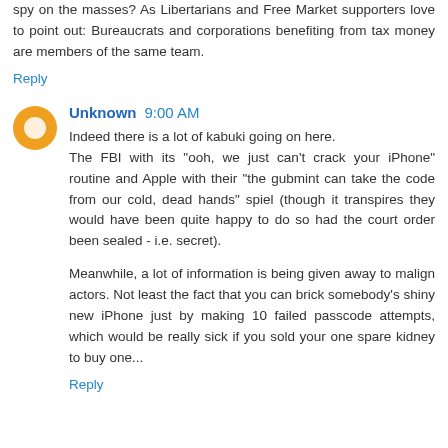spy on the masses? As Libertarians and Free Market supporters love to point out: Bureaucrats and corporations benefiting from tax money are members of the same team.
Reply
Unknown  9:00 AM
Indeed there is a lot of kabuki going on here.
The FBI with its "ooh, we just can't crack your iPhone" routine and Apple with their "the gubmint can take the code from our cold, dead hands" spiel (though it transpires they would have been quite happy to do so had the court order been sealed - i.e. secret).
Meanwhile, a lot of information is being given away to malign actors. Not least the fact that you can brick somebody's shiny new iPhone just by making 10 failed passcode attempts, which would be really sick if you sold your one spare kidney to buy one...
Reply